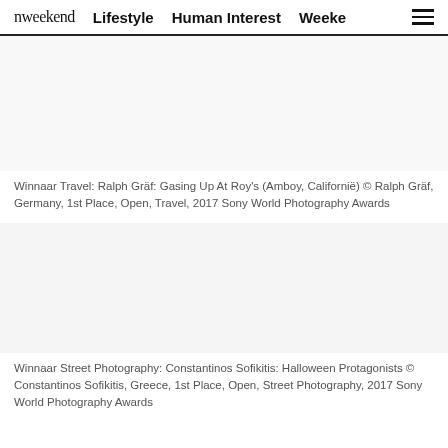nweekend  Lifestyle  Human Interest  Weeke
[Figure (photo): Blank/white image area representing a travel photograph (Winnaar Travel: Ralph Gräf: Gasing Up At Roy's, Amboy, Californië)]
Winnaar Travel: Ralph Gräf: Gasing Up At Roy's (Amboy, Californië) © Ralph Gräf, Germany, 1st Place, Open, Travel, 2017 Sony World Photography Awards
[Figure (photo): Blank/white image area representing a street photography photograph (Winnaar Street Photography: Constantinos Sofikitis: Halloween Protagonists)]
Winnaar Street Photography: Constantinos Sofikitis: Halloween Protagonists © Constantinos Sofikitis, Greece, 1st Place, Open, Street Photography, 2017 Sony World Photography Awards